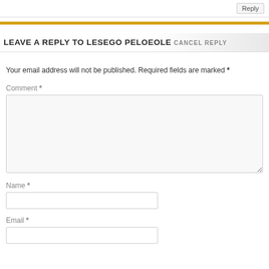Reply
LEAVE A REPLY TO LESEGO PELOEOLE CANCEL REPLY
Your email address will not be published. Required fields are marked *
Comment *
Name *
Email *